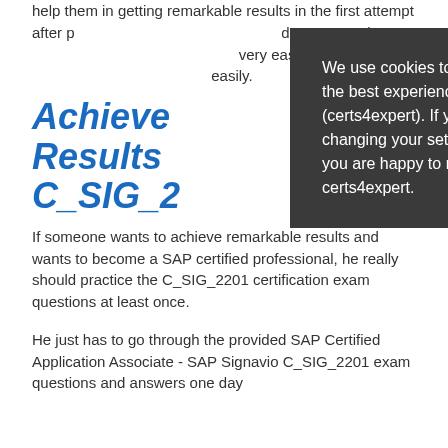help them in getting remarkable results in the first attempt after preparing with our C_SIG_2201 dumps questions answers. Our exam material is very easy to use and you can prepare for exam very easily.
Achieve Remarkable Results with C_SIG_2201
[Figure (screenshot): Cookie consent modal overlay with dark background. Text reads: 'We use cookies to ensure that we give you the best experience on our website (certs4expert). If you continue without changing your settings, we'll assume that you are happy to receive all cookies on the certs4expert.' with an X close button.]
If someone wants to achieve remarkable results and wants to become a SAP certified professional, he really should practice the C_SIG_2201 certification exam questions at least once.
He just has to go through the provided SAP Certified Application Associate - SAP Signavio C_SIG_2201 exam questions and answers one day